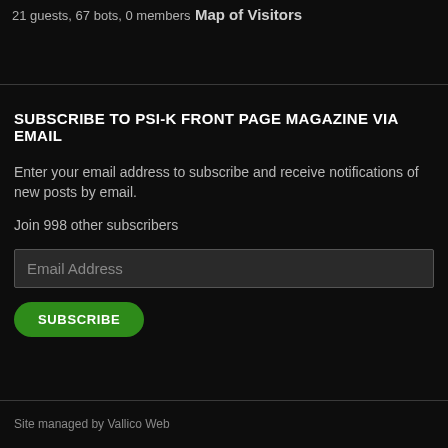21 guests, 67 bots, 0 members
Map of Visitors
SUBSCRIBE TO PSI-K FRONT PAGE MAGAZINE VIA EMAIL
Enter your email address to subscribe and receive notifications of new posts by email.
Join 998 other subscribers
Email Address
SUBSCRIBE
Site managed by Vallico Web